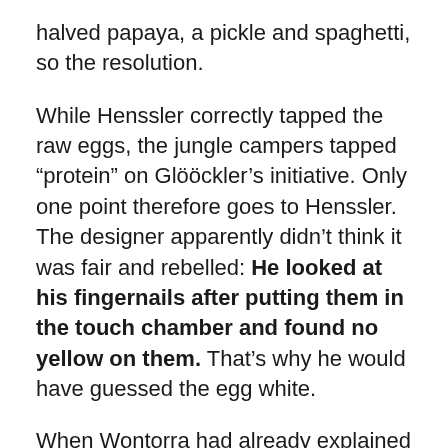halved papaya, a pickle and spaghetti, so the resolution.
While Henssler correctly tapped the raw eggs, the jungle campers tapped “protein” on Glööckler’s initiative. Only one point therefore goes to Henssler. The designer apparently didn’t think it was fair and rebelled: He looked at his fingernails after putting them in the touch chamber and found no yellow on them. That’s why he would have guessed the egg white.
When Wontorra had already explained that the eggs were whole, Glööckler put his fingers back in the bowl and then showed his golden fingernails to Wontorra and Henssler.